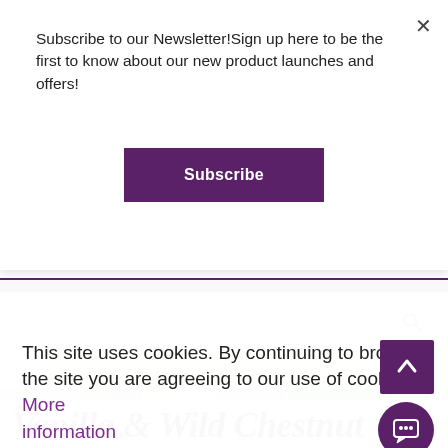Subscribe to our Newsletter!Sign up here to be the first to know about our new product launches and offers!
Subscribe
[Figure (photo): Product container bottom showing text: 400ml e 13.5 US fl. oz.]
[Figure (photo): Three product thumbnail images in a row]
This site uses cookies. By continuing to browse the site you are agreeing to our use of cookies. More information
Continue
Vanilla & Wild Chestnut